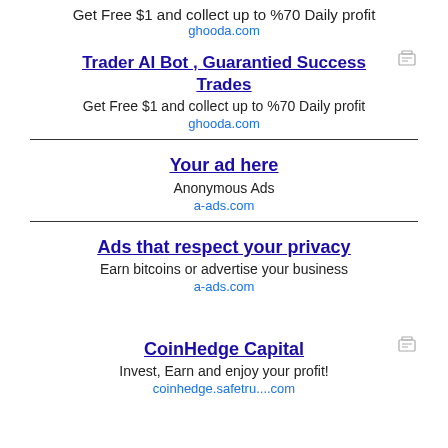Get Free $1 and collect up to %70 Daily profit
ghooda.com
Trader AI Bot , Guarantied Success Trades
Get Free $1 and collect up to %70 Daily profit
ghooda.com
Your ad here
Anonymous Ads
a-ads.com
Ads that respect your privacy
Earn bitcoins or advertise your business
a-ads.com
CoinHedge Capital
Invest, Earn and enjoy your profit!
coinhedge.safetru....com